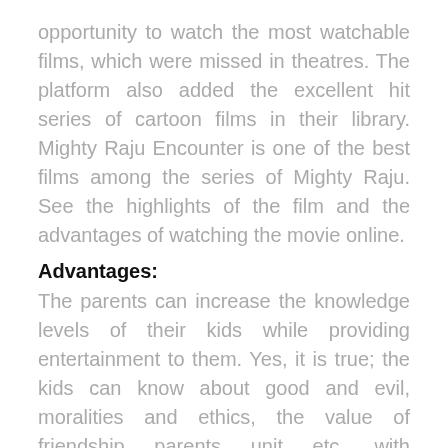opportunity to watch the most watchable films, which were missed in theatres. The platform also added the excellent hit series of cartoon films in their library. Mighty Raju Encounter is one of the best films among the series of Mighty Raju. See the highlights of the film and the advantages of watching the movie online.
Advantages:
The parents can increase the knowledge levels of their kids while providing entertainment to them. Yes, it is true; the kids can know about good and evil, moralities and ethics, the value of friendship, parents, unit, etc., with watching the animated movies because the animated fictional movies include elements like the power of God and evil,